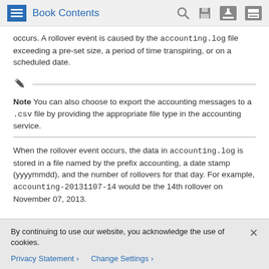Book Contents
occurs. A rollover event is caused by the accounting.log file exceeding a pre-set size, a period of time transpiring, or on a scheduled date.
Note You can also choose to export the accounting messages to a .csv file by providing the appropriate file type in the accounting service.
When the rollover event occurs, the data in accounting.log is stored in a file named by the prefix accounting, a date stamp (yyyymmdd), and the number of rollovers for that day. For example, accounting-20131107-14 would be the 14th rollover on November 07, 2013.
By continuing to use our website, you acknowledge the use of cookies.
Privacy Statement > Change Settings >